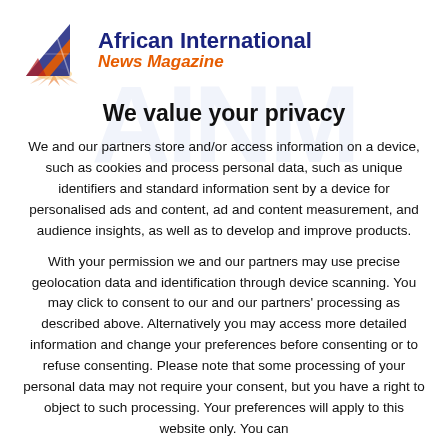[Figure (logo): African International News Magazine logo — triangular arrow/sun icon in blue, orange, red with rays, beside bold navy text 'African International' and orange italic 'News Magazine']
We value your privacy
We and our partners store and/or access information on a device, such as cookies and process personal data, such as unique identifiers and standard information sent by a device for personalised ads and content, ad and content measurement, and audience insights, as well as to develop and improve products.
With your permission we and our partners may use precise geolocation data and identification through device scanning. You may click to consent to our and our partners' processing as described above. Alternatively you may access more detailed information and change your preferences before consenting or to refuse consenting. Please note that some processing of your personal data may not require your consent, but you have a right to object to such processing. Your preferences will apply to this website only. You can